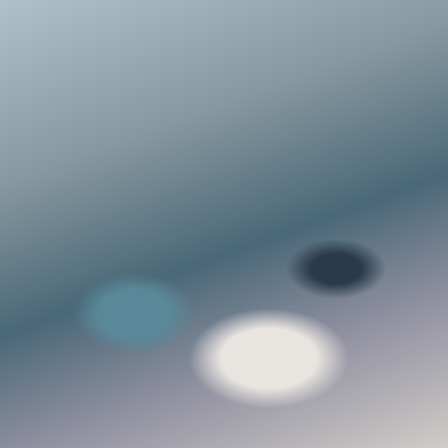[Figure (photo): Partial photo at top showing fabric/clothing items in teal, cream, and dark tones]
I like imaginin’ praise comin’ outta my house, loud enough to wake up the sun and bring it runnin’ up my mountain, just to see what all the shoutin’s about. Inspired by Psalm 108:1-5 “My heart is steadfast, O God;I will sing and make music with all my soul. Awake harp and lyre! I will awaken the… Continue reading →
Please share!